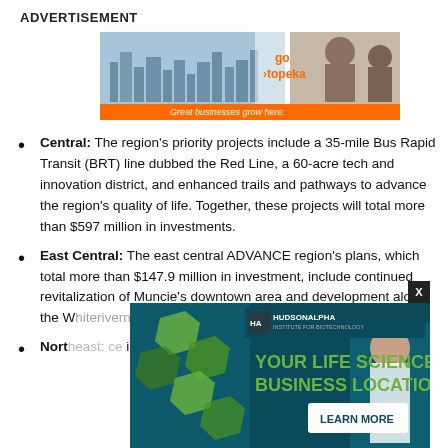ADVERTISEMENT
[Figure (photo): Go Topeka banner advertisement: city skyline on left, woman on right, orange bar at bottom reading 'Great businesses grow here.']
Central: The region's priority projects include a 35-mile Bus Rapid Transit (BRT) line dubbed the Red Line, a 60-acre tech and innovation district, and enhanced trails and pathways to advance the region's quality of life. Together, these projects will total more than $597 million in investments.
East Central: The east central ADVANCE region's plans, which total more than $147.9 million in investment, include continued revitalization of Muncie's downtown area and development along the W[...] arts distri[...]
Nort[...] ce initia[...] o
[Figure (photo): HudsonAlpha Institute for Biotechnology overlay advertisement: 'YOUR LIFE SCIENCES BUSINESS LOCATION' with hexagonal imagery and a LEARN MORE button.]